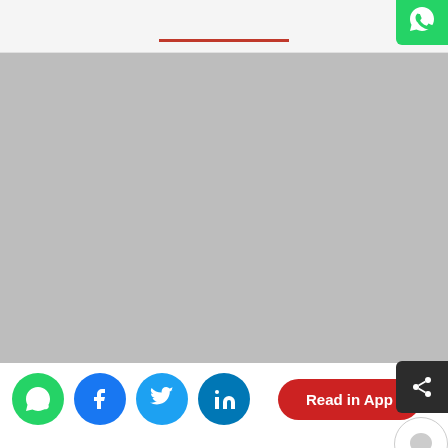[Figure (photo): Grey placeholder image for a news article about a woman veterinary doctor found burnt at an underpass in Shadnagar, Telangana's Ranga Reddy district.]
Ranga Reddy: The burnt body of a woman veterinary doctor was found at an underpass in Shadnagar outskirts in Telangana's Ranga Reddy district. As per the preliminary